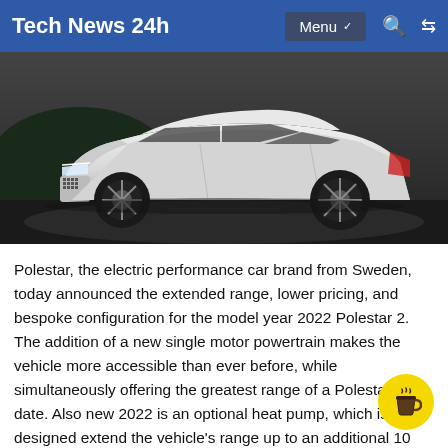Tech News 24h
[Figure (photo): White Polestar 2 electric car on a dark outdoor background]
Polestar, the electric performance car brand from Sweden, today announced the extended range, lower pricing, and bespoke configuration for the model year 2022 Polestar 2. The addition of a new single motor powertrain makes the vehicle more accessible than ever before, while simultaneously offering the greatest range of a Polestar 2 to date. Also new 2022 is an optional heat pump, which is designed extend the vehicle's range up to an additional 10 percent under certain climatic conditions.